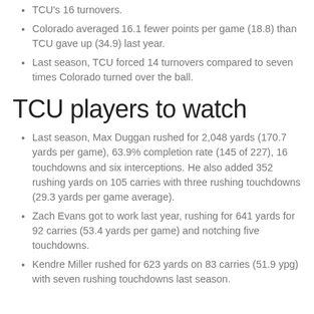TCU's 16 turnovers.
Colorado averaged 16.1 fewer points per game (18.8) than TCU gave up (34.9) last year.
Last season, TCU forced 14 turnovers compared to seven times Colorado turned over the ball.
TCU players to watch
Last season, Max Duggan rushed for 2,048 yards (170.7 yards per game), 63.9% completion rate (145 of 227), 16 touchdowns and six interceptions. He also added 352 rushing yards on 105 carries with three rushing touchdowns (29.3 yards per game average).
Zach Evans got to work last year, rushing for 641 yards for 92 carries (53.4 yards per game) and notching five touchdowns.
Kendre Miller rushed for 623 yards on 83 carries (51.9 ypg) with seven rushing touchdowns last season.